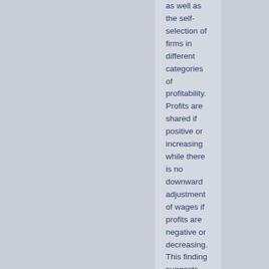as well as the self-selection of firms in different categories of profitability. Profits are shared if positive or increasing while there is no downward adjustment of wages if profits are negative or decreasing. This finding suggests that profits per worker